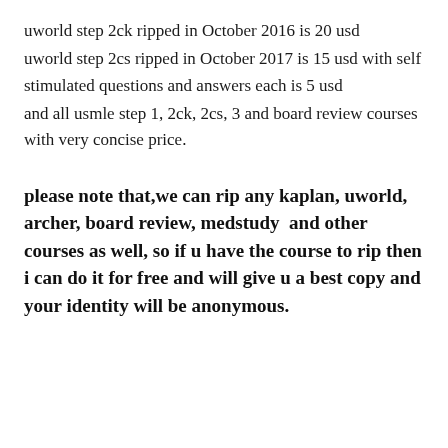uworld step 2ck ripped in October 2016 is 20 usd
uworld step 2cs ripped in October 2017 is 15 usd with self stimulated questions and answers each is 5 usd
and all usmle step 1, 2ck, 2cs, 3 and board review courses with very concise price.
please note that,we can rip any kaplan, uworld, archer, board review, medstudy  and other courses as well, so if u have the course to rip then i can do it for free and will give u a best copy and your identity will be anonymous.